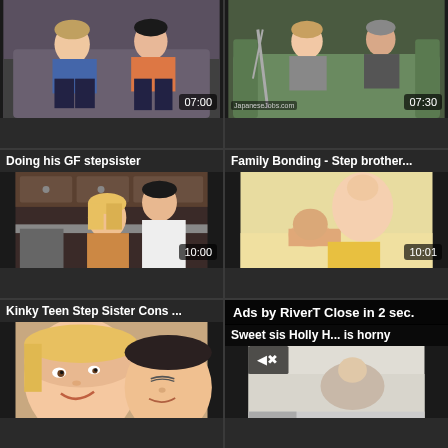[Figure (screenshot): Video thumbnail row 1 left - two people sitting on couch, duration 07:00]
[Figure (screenshot): Video thumbnail row 1 right - people on green sofa, duration 07:30, watermark JapaneseJobs.com]
[Figure (screenshot): Video thumbnail row 2 left - title: Doing his GF stepsister, kitchen scene, duration 10:00]
[Figure (screenshot): Video thumbnail row 2 right - title: Family Bonding - Step brother..., duration 10:01]
[Figure (screenshot): Video thumbnail row 3 left - title: Kinky Teen Step Sister Cons ..., close-up faces]
[Figure (screenshot): Video thumbnail row 3 right - title: Sweet sis Holly H... is horny, with ad overlay: Ads by RiverT Close in 2 sec. and mute button]